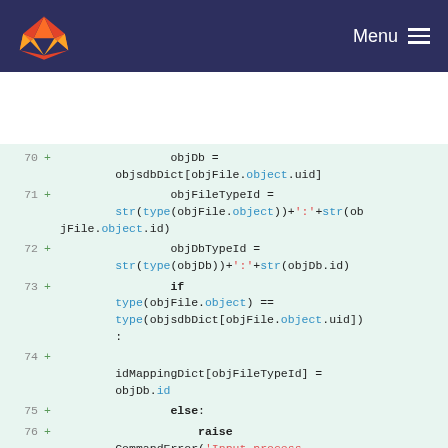GitLab Menu
[Figure (screenshot): GitLab code diff view showing lines 70-76 of a Python file with added lines (+) highlighted in green background. Lines show Python code for objDb assignment, objFileTypeId, objDbTypeId, a conditional if/else block, and a raise CommandError statement with a red error message string about 'Input process terminated without any changes to the database. Two models match by uid but not ']